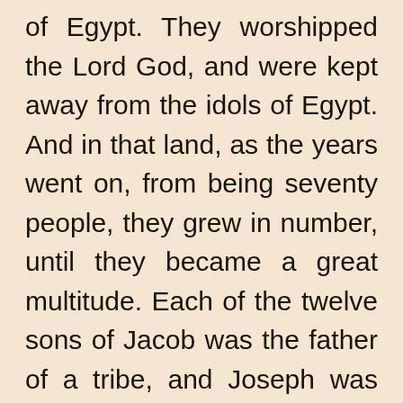of Egypt. They worshipped the Lord God, and were kept away from the idols of Egypt. And in that land, as the years went on, from being seventy people, they grew in number, until they became a great multitude. Each of the twelve sons of Jacob was the father of a tribe, and Joseph was the father of two tribes, which were named after his two sons, Ephraim and Manasseh.